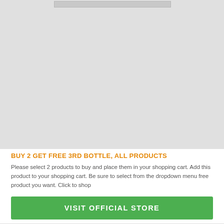[Figure (photo): Product image placeholder area with grey background]
BUY 2 GET FREE 3RD BOTTLE, ALL PRODUCTS
Please select 2 products to buy and place them in your shopping cart. Add this product to your shopping cart. Be sure to select from the dropdown menu free product you want. Click to shop
VISIT OFFICIAL STORE
Paraguacu Paulista, Timon, Atibaia, Limeira, Itapecuru Mirim, Lavras da Mangabeira, Santa Helena, Sao Sebastiao